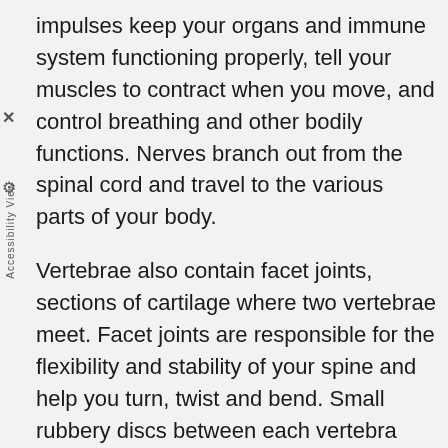impulses keep your organs and immune system functioning properly, tell your muscles to contract when you move, and control breathing and other bodily functions. Nerves branch out from the spinal cord and travel to the various parts of your body.
Vertebrae also contain facet joints, sections of cartilage where two vertebrae meet. Facet joints are responsible for the flexibility and stability of your spine and help you turn, twist and bend. Small rubbery discs between each vertebra cushion your spine and absorb shock.
Your spine isn't perfectly straight but forms an "S" shape. This shape keeps your weight evenly distributed, enhances flexibility, and reduces